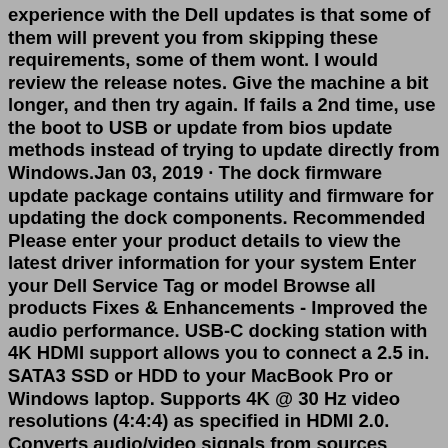experience with the Dell updates is that some of them will prevent you from skipping these requirements, some of them wont. I would review the release notes. Give the machine a bit longer, and then try again. If fails a 2nd time, use the boot to USB or update from bios update methods instead of trying to update directly from Windows.Jan 03, 2019 · The dock firmware update package contains utility and firmware for updating the dock components. Recommended Please enter your product details to view the latest driver information for your system Enter your Dell Service Tag or model Browse all products Fixes & Enhancements - Improved the audio performance. USB-C docking station with 4K HDMI support allows you to connect a 2.5 in. SATA3 SSD or HDD to your MacBook Pro or Windows laptop. Supports 4K @ 30 Hz video resolutions (4:4:4) as specified in HDMI 2.0. Converts audio/video signals from sources supporting USB-C DisplayPort Alt Mode. USB-C PD 3.0 port supports 20V 5A (100W) power output for ...Tried the firmware update